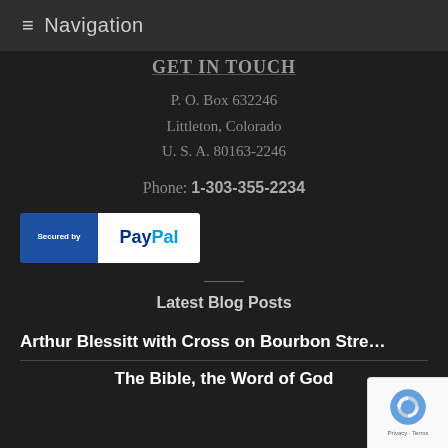Navigation
GET IN TOUCH
P. O. Box 632246
Littleton, Colorado
U. S. A. 80163-2246
Phone: 1-303-355-2234
[Figure (logo): Secured by PayPal badge — blue left panel with 'Secured by' text, white right panel with PayPal logo]
Latest Blog Posts
Arthur Blessitt with Cross on Bourbon Str...
The Bible, the Word of God